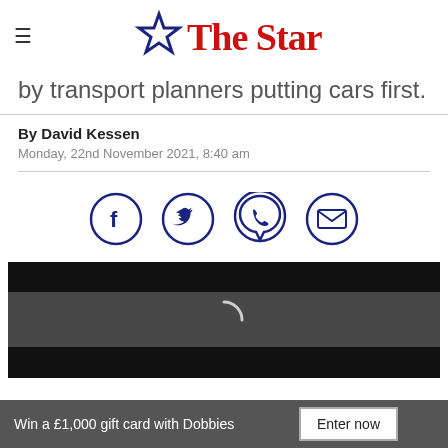The Star
by transport planners putting cars first.
By David Kessen
Monday, 22nd November 2021, 8:40 am
[Figure (other): Social sharing icons: Facebook, Twitter, WhatsApp, Email]
[Figure (photo): Dark video player area with loading spinner overlay]
Win a £1,000 gift card with Dobbies  Enter now